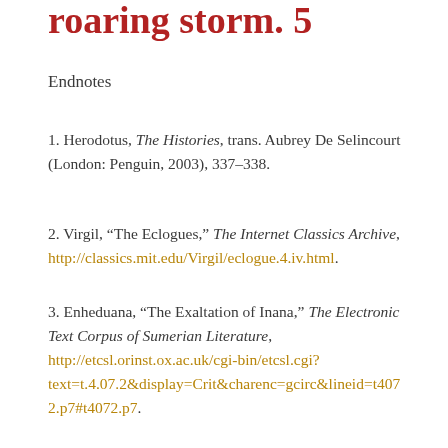roaring storm. 5
Endnotes
1. Herodotus, The Histories, trans. Aubrey De Selincourt (London: Penguin, 2003), 337–338.
2. Virgil, "The Eclogues," The Internet Classics Archive, http://classics.mit.edu/Virgil/eclogue.4.iv.html.
3. Enheduana, "The Exaltation of Inana," The Electronic Text Corpus of Sumerian Literature, http://etcsl.orinst.ox.ac.uk/cgi-bin/etcsl.cgi?text=t.4.07.2&display=Crit&charenc=gcirc&lineid=t4072.p7#t4072.p7.